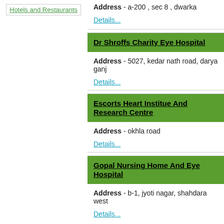Hotels and Restaurants
Address - a-200 , sec 8 , dwarka
Details...
Dr Shroffs Charity Eye Hospital
Address - 5027, kedar nath road, darya ganj
Details...
Escorts Heart Institue And Research Centre
Address - okhla road
Details...
Gopal Nursing Home And Eye Hospital
Address - b-1, jyoti nagar, shahdara west
Details...